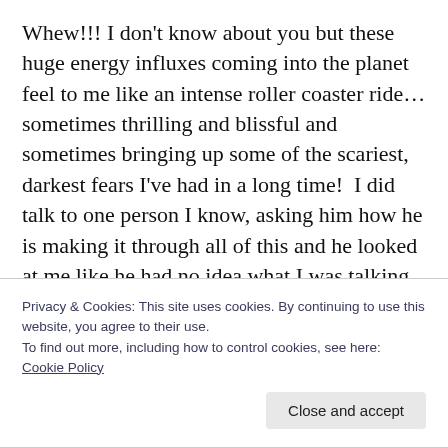Whew!!! I don't know about you but these huge energy influxes coming into the planet feel to me like an intense roller coaster ride…sometimes thrilling and blissful and sometimes bringing up some of the scariest, darkest fears I've had in a long time!  I did talk to one person I know, asking him how he is making it through all of this and he looked at me like he had no idea what I was talking about. But he is the only one. Most of my friends have been experiencing the same
Privacy & Cookies: This site uses cookies. By continuing to use this website, you agree to their use.
To find out more, including how to control cookies, see here: Cookie Policy
Close and accept